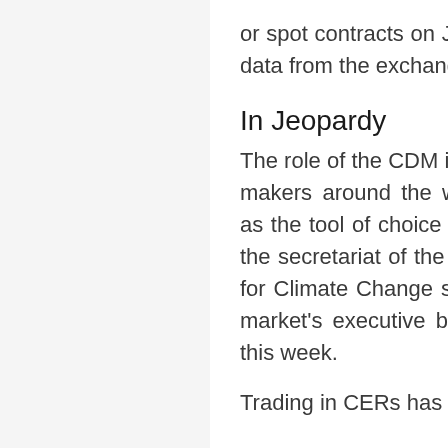or spot contracts on July 22 and 23, according to data from the exchanges.
In Jeopardy
The role of the CDM is in jeopardy even as policy makers around the world favor carbon markets as the tool of choice for tackling global warming, the secretariat of the UN Framework Convention for Climate Change said in a presentation to the market's executive board at a meeting in Bonn this week.
Trading in CERs has been